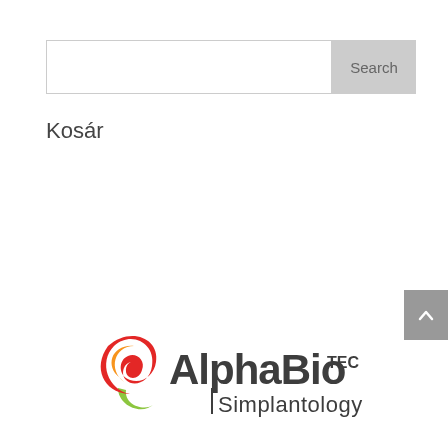[Figure (screenshot): Search bar with text input field and Search button]
Kosár
[Figure (logo): Alpha Bio TEC Simplantology logo with red and yellow swoosh icon and stylized text]
[Figure (other): Scroll to top button with upward arrow chevron on grey background]